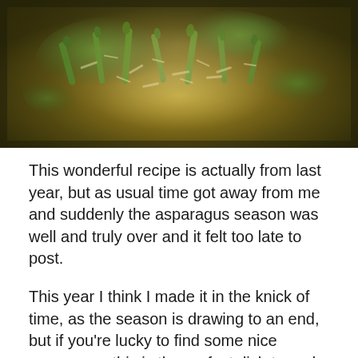[Figure (photo): Close-up photo of a dish of risotto with asparagus pieces and grated parmesan cheese on top, served in a bowl. The image shows a creamy, grain-textured base with bright green asparagus spears and shredded cheese scattered across the surface.]
This wonderful recipe is actually from last year, but as usual time got away from me and suddenly the asparagus season was well and truly over and it felt too late to post.
This year I think I made it in the knick of time, as the season is drawing to an end, but if you're lucky to find some nice asparagus, this is the perfect dish to end the season with. It's both light and warming, fresh and a bit decadent thanks to the browned butter and wild garlic butter. Butter solves everything, doesn't it?!